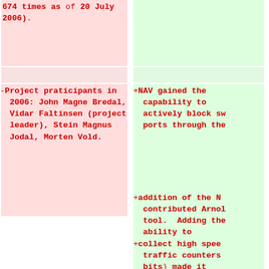674 times as of 20 July 2006).
-Project praticipants in 2006: John Magne Bredal, Vidar Faltinsen (project leader), Stein Magnus Jodal, Morten Vold.
+NAV gained the capability to actively block sw ports through the
+addition of the N contributed Arnold tool. Adding the ability to
+collect high spee traffic counters bits) made it possible to
+reduce the Cricke collector frequen for gigabit switc ports from